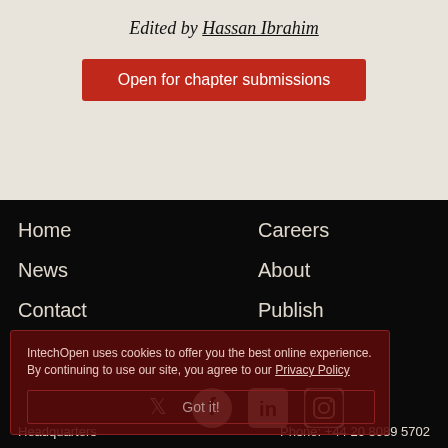Edited by Hassan Ibrahim
Open for chapter submissions
Home
Careers
News
About
Contact
Publish
IntechOpen uses cookies to offer you the best online experience. By continuing to use our site, you agree to our Privacy Policy
Got it!
[Figure (infographic): Social media icons: Twitter, Facebook, LinkedIn, Instagram]
Headquarters    Phone: +44 20 8089 5702